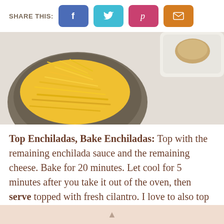SHARE THIS:
[Figure (photo): Overhead photo of shredded cheddar cheese in a dark bowl on a light wooden surface, with a white baking dish visible in the upper right corner]
Top Enchiladas, Bake Enchiladas: Top with the remaining enchilada sauce and the remaining cheese. Bake for 20 minutes. Let cool for 5 minutes after you take it out of the oven, then serve topped with fresh cilantro. I love to also top them with sour cream and green onions.